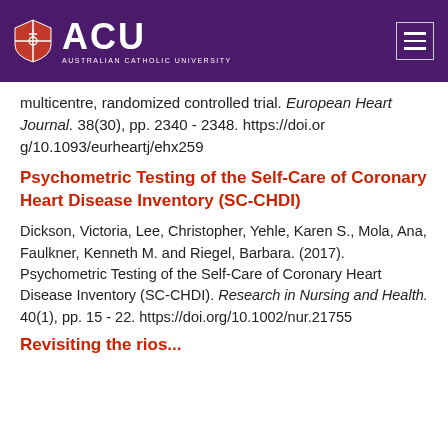ACU AUSTRALIAN CATHOLIC UNIVERSITY
multicentre, randomized controlled trial. European Heart Journal. 38(30), pp. 2340 - 2348. https://doi.org/10.1093/eurheartj/ehx259
Psychometric Testing of the Self-Care of Coronary Heart Disease Inventory (SC-CHDI)
Dickson, Victoria, Lee, Christopher, Yehle, Karen S., Mola, Ana, Faulkner, Kenneth M. and Riegel, Barbara. (2017). Psychometric Testing of the Self-Care of Coronary Heart Disease Inventory (SC-CHDI). Research in Nursing and Health. 40(1), pp. 15 - 22. https://doi.org/10.1002/nur.21755
Revisiting the rios...